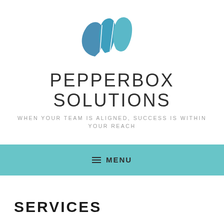[Figure (logo): Pepperbox Solutions logo — three overlapping teardrop/leaf shapes in teal/steel blue forming a stylized abstract mark]
PEPPERBOX SOLUTIONS
WHEN YOUR TEAM IS ALIGNED, SUCCESS IS WITHIN YOUR REACH
≡ MENU
SERVICES